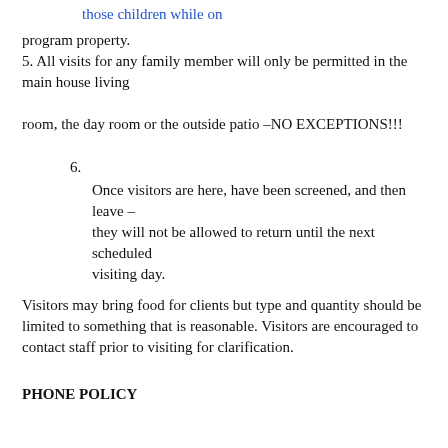those children while on
program property.
5. All visits for any family member will only be permitted in the main house living
room, the day room or the outside patio –NO EXCEPTIONS!!!
6. Once visitors are here, have been screened, and then leave – they will not be allowed to return until the next scheduled visiting day.
Visitors may bring food for clients but type and quantity should be limited to something that is reasonable. Visitors are encouraged to contact staff prior to visiting for clarification.
PHONE POLICY